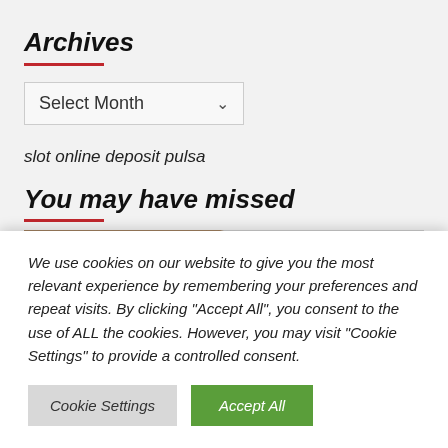Archives
Select Month
slot online deposit pulsa
You may have missed
We use cookies on our website to give you the most relevant experience by remembering your preferences and repeat visits. By clicking "Accept All", you consent to the use of ALL the cookies. However, you may visit "Cookie Settings" to provide a controlled consent.